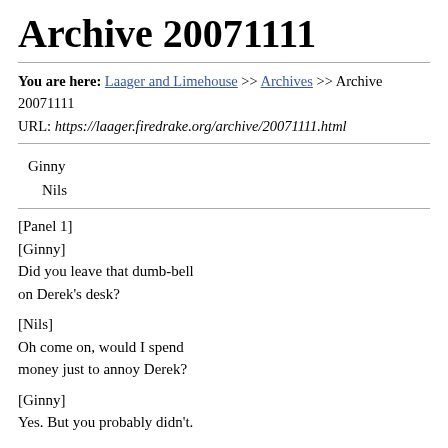Archive 20071111
You are here: Laager and Limehouse >> Archives >> Archive 20071111
URL: https://laager.firedrake.org/archive/20071111.html
Ginny
Nils
[Panel 1]
[Ginny]
Did you leave that dumb-bell
on Derek's desk?

[Nils]
Oh come on, would I spend
money just to annoy Derek?

[Ginny]
Yes. But you probably didn't.